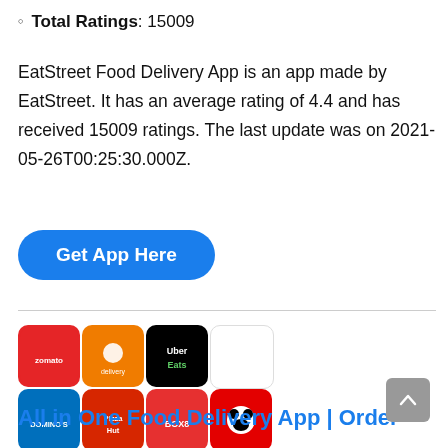Total Ratings: 15009
EatStreet Food Delivery App is an app made by EatStreet. It has an average rating of 4.4 and has received 15009 ratings. The last update was on 2021-05-26T00:25:30.000Z.
Get App Here
[Figure (illustration): A collage of food delivery app icons including Zomato, a delivery app, Uber Eats, Domino's, Pizza Hut, Box8, Panda, KFC, Burger King, McDonald's, and Swiggy, arranged in a 4x3 grid, with a blue label below reading '35+ FOOD APPS']
All in One Food Delivery App | Order